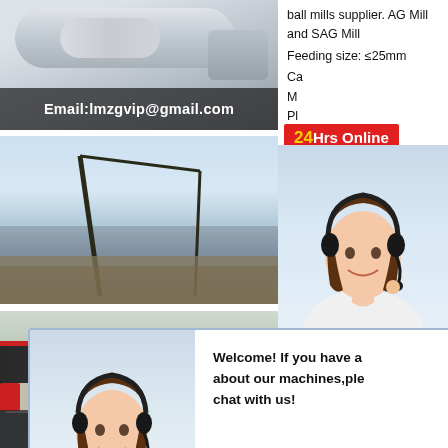[Figure (photo): Industrial machinery/ball mill equipment photo with email overlay]
Email:lmzgvip@gmail.com
[Figure (photo): Construction crane and outdoor industrial scene photo]
ball mills supplier. AG Mill and SAG Mill
Feeding size: ≤25mm
Ca...
M...
Pl...
La...
D...
[Figure (infographic): 24Hrs Online badge with customer service representative]
[Figure (photo): Chat popup with customer service rep wearing headset, welcome message and Chat Now button]
Welcome! If you have a question about our machines,ple chat with us!
[Figure (photo): Need questions & suggestion chat widget with Chat Now button]
Need questions & suggestion?
[Figure (photo): Industrial building/factory exterior with trucks and Email overlay]
Email:lmzgvip@gmail.com
1 scription Ball mill is the key re-crush eqipment after the crushing. Ball mill is widely used in cement, silicate